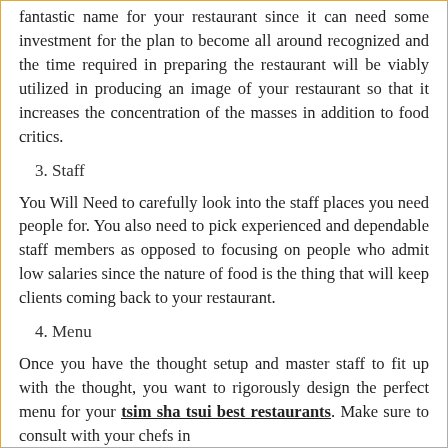fantastic name for your restaurant since it can need some investment for the plan to become all around recognized and the time required in preparing the restaurant will be viably utilized in producing an image of your restaurant so that it increases the concentration of the masses in addition to food critics.
3. Staff
You Will Need to carefully look into the staff places you need people for. You also need to pick experienced and dependable staff members as opposed to focusing on people who admit low salaries since the nature of food is the thing that will keep clients coming back to your restaurant.
4. Menu
Once you have the thought setup and master staff to fit up with the thought, you want to rigorously design the perfect menu for your tsim sha tsui best restaurants. Make sure to consult with your chefs in